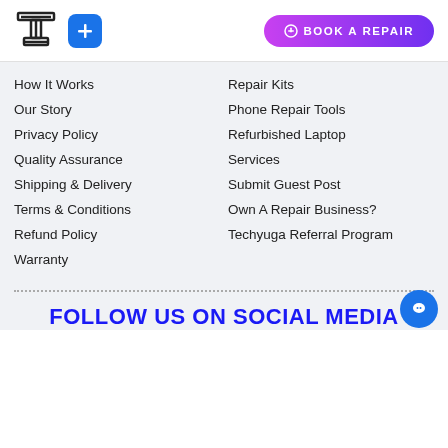[Figure (logo): Techyuga logo - T with tool icon, plus blue square with plus icon, and Book a Repair gradient button]
How It Works
Our Story
Privacy Policy
Quality Assurance
Shipping & Delivery
Terms & Conditions
Refund Policy
Warranty
Repair Kits
Phone Repair Tools
Refurbished Laptop
Services
Submit Guest Post
Own A Repair Business?
Techyuga Referral Program
FOLLOW US ON SOCIAL MEDIA